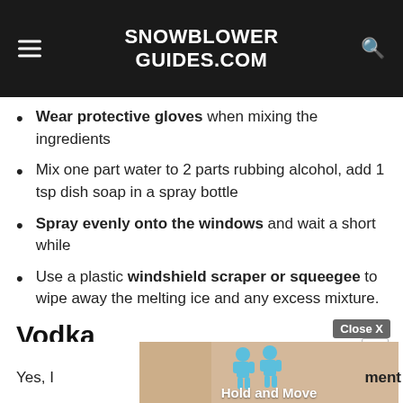SNOWBLOWER GUIDES.COM
Wear protective gloves when mixing the ingredients
Mix one part water to 2 parts rubbing alcohol, add 1 tsp dish soap in a spray bottle
Spray evenly onto the windows and wait a short while
Use a plastic windshield scraper or squeegee to wipe away the melting ice and any excess mixture.
Vodka
Yes, [advertisement overlay] ment